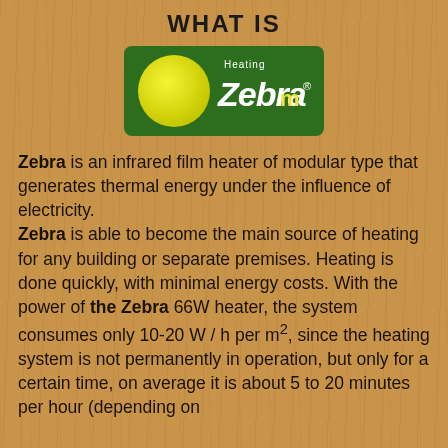WHAT IS
[Figure (logo): Zebra Heating logo: green rectangular background with yellow circle on left side, text 'Heating' above 'Zebra' with stylized double-bar M symbol in yellow]
Zebra is an infrared film heater of modular type that generates thermal energy under the influence of electricity. Zebra is able to become the main source of heating for any building or separate premises. Heating is done quickly, with minimal energy costs. With the power of the Zebra 66W heater, the system consumes only 10-20 W / h per m², since the heating system is not permanently in operation, but only for a certain time, on average it is about 5 to 20 minutes per hour (depending on